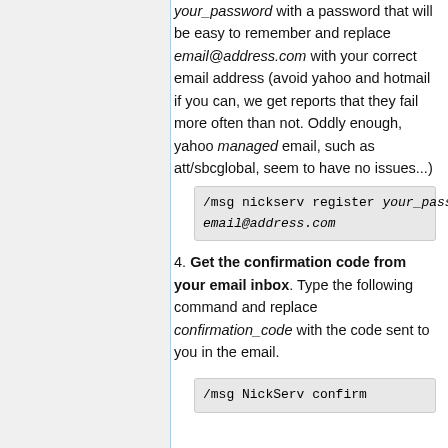your_password with a password that will be easy to remember and replace email@address.com with your correct email address (avoid yahoo and hotmail if you can, we get reports that they fail more often than not. Oddly enough, yahoo managed email, such as att/sbcglobal, seem to have no issues...)
/msg nickserv register your_password email@address.com
Get the confirmation code from your email inbox. Type the following command and replace confirmation_code with the code sent to you in the email.
/msg NickServ confirm